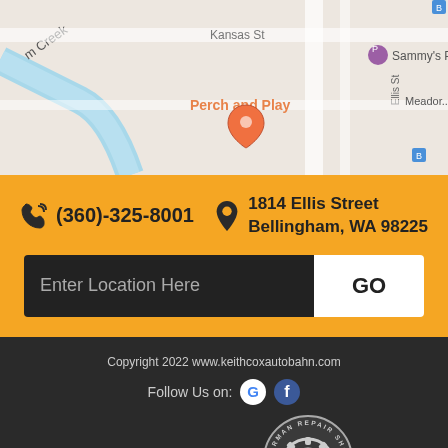[Figure (map): Street map showing area near Ellis St, Kansas St, with Sammy's Place, Perch and Play labels visible]
(360)-325-8001
1814 Ellis Street
Bellingham, WA 98225
Enter Location Here
GO
Copyright 2022 www.keithcoxautobahn.com
Follow Us on:
Site Design & Marketing by
Call Now